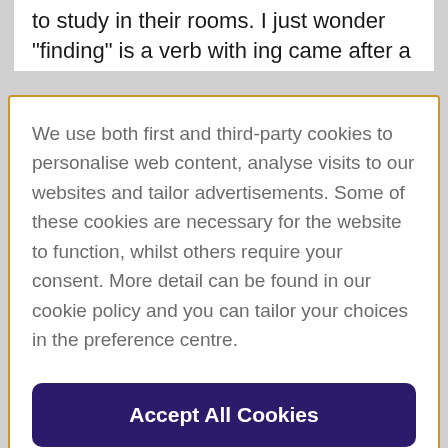to study in their rooms. I just wonder "finding" is a verb with ing came after a
We use both first and third-party cookies to personalise web content, analyse visits to our websites and tailor advertisements. Some of these cookies are necessary for the website to function, whilst others require your consent. More detail can be found in our cookie policy and you can tailor your choices in the preference centre.
Accept All Cookies
Cookies Settings